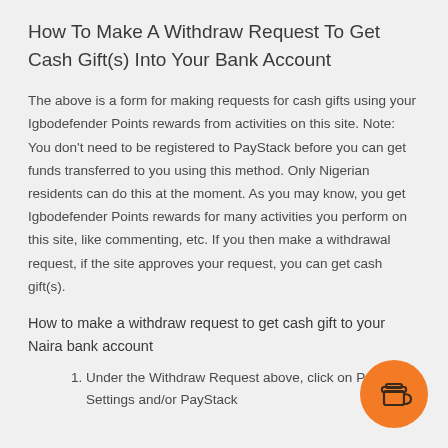How To Make A Withdraw Request To Get Cash Gift(s) Into Your Bank Account
The above is a form for making requests for cash gifts using your Igbodefender Points rewards from activities on this site. Note: You don't need to be registered to PayStack before you can get funds transferred to you using this method. Only Nigerian residents can do this at the moment. As you may know, you get Igbodefender Points rewards for many activities you perform on this site, like commenting, etc. If you then make a withdrawal request, if the site approves your request, you can get cash gift(s).
How to make a withdraw request to get cash gift to your Naira bank account
Under the Withdraw Request above, click on Payment Settings and/or PayStack